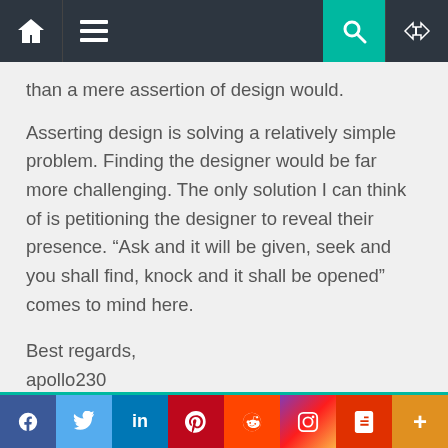Navigation bar with home, menu, search, and shuffle icons
than a mere assertion of design would.
Asserting design is solving a relatively simple problem. Finding the designer would be far more challenging. The only solution I can think of is petitioning the designer to reveal their presence. “Ask and it will be given, seek and you shall find, knock and it shall be opened” comes to mind here.

Best regards,
apollo230
3
Social share bar: Facebook, Twitter, LinkedIn, Pinterest, Reddit, Instagram, Flipboard, More